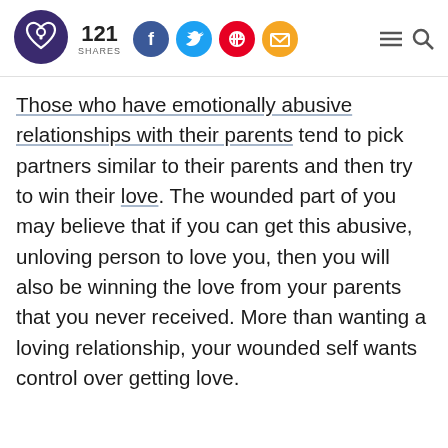[Figure (logo): Purple circular logo with heart and lock symbol]
121 SHARES
[Figure (infographic): Social share buttons: Facebook (blue circle), Twitter (blue circle), Pinterest (red circle), Email (yellow circle), hamburger menu, search icon]
Those who have emotionally abusive relationships with their parents tend to pick partners similar to their parents and then try to win their love. The wounded part of you may believe that if you can get this abusive, unloving person to love you, then you will also be winning the love from your parents that you never received. More than wanting a loving relationship, your wounded self wants control over getting love.